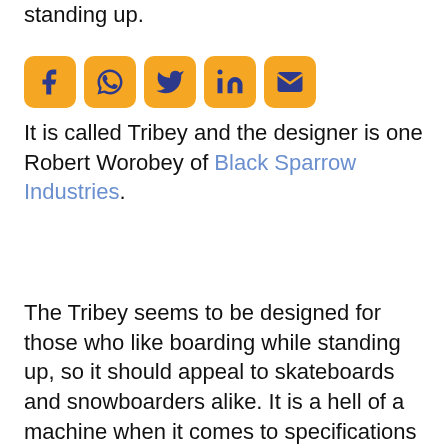standing up.
[Figure (other): Row of five social media icon buttons: Facebook, WhatsApp, Twitter, LinkedIn, Email — orange rounded square backgrounds with dark blue icons]
It is called Tribey and the designer is one Robert Worobey of Black Sparrow Industries.
The Tribey seems to be designed for those who like boarding while standing up, so it should appeal to skateboards and snowboarders alike. It is a hell of a machine when it comes to specifications given the simplicity of its design